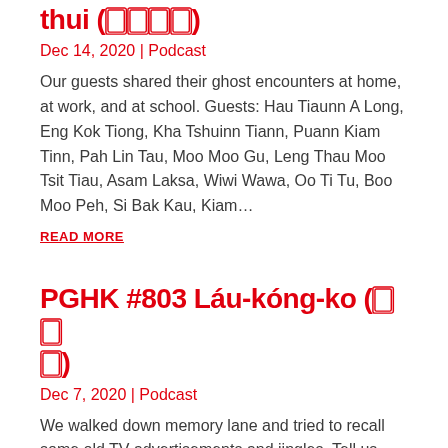thui (𪜶𪜶𪜶𪜶)
Dec 14, 2020 | Podcast
Our guests shared their ghost encounters at home, at work, and at school. Guests: Hau Tiaunn A Long, Eng Kok Tiong, Kha Tshuinn Tiann, Puann Kiam Tinn, Pah Lin Tau, Moo Moo Gu, Leng Thau Moo Tsit Tiau, Asam Laksa, Wiwi Wawa, Oo Ti Tu, Boo Moo Peh, Si Bak Kau, Kiam…
READ MORE
PGHK #803 Láu-kóng-ko (𪜶𪜶𪜶)
Dec 7, 2020 | Podcast
We walked down memory lane and tried to recall some old TV advertisements and jingles. Tell us what did we miss. Guests: Siam Kiann, Moo Moo Gu, Asalm Laksa, Wiwi Wawa, Puann Kiam Tinn, Hau Tiaunn A Long, Be Sai Kong, Si Bak Kau, Jagung, Bo